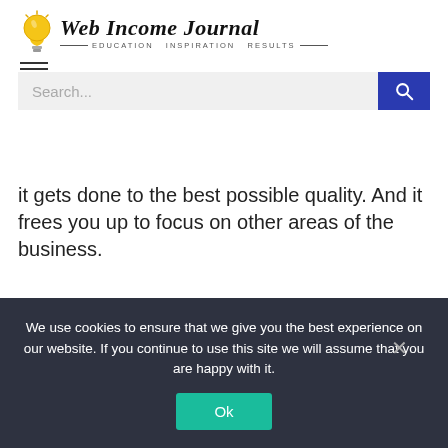Web Income Journal — EDUCATION. INSPIRATION. RESULTS.
it gets done to the best possible quality. And it frees you up to focus on other areas of the business.
Final words
You have to understand that running a business is very time-consuming. Of
We use cookies to ensure that we give you the best experience on our website. If you continue to use this site we will assume that you are happy with it.